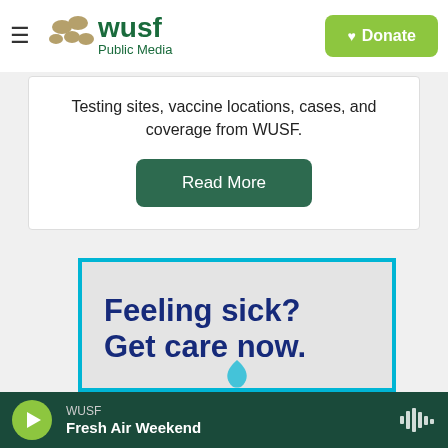WUSF Public Media | Donate
Testing sites, vaccine locations, cases, and coverage from WUSF.
Read More
[Figure (screenshot): Advertisement banner with cyan border showing bold dark blue text: 'Feeling sick? Get care now.' on a light gray background with a partial bird/logo shape at the bottom.]
WUSF | Fresh Air Weekend